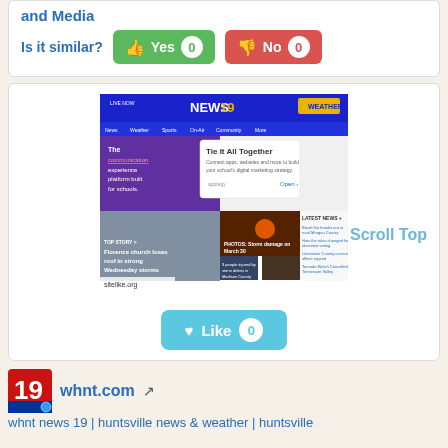and Media
Is it similar? Yes 0 No 0
[Figure (screenshot): Screenshot of whnt.com (News 19) website showing news articles including storm damage and a church losing its roof. Shows a 'Tie It All Together' advertisement and latest news headlines. Bottom left shows sitelike.org watermark.]
Scroll Top
Like 0
[Figure (logo): News 19 / WHNT logo with red and white stylized 19]
whnt.com
whnt news 19 | huntsville news & weather | huntsville